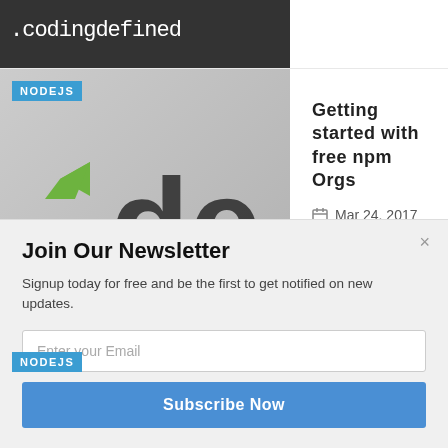[Figure (screenshot): Partial article thumbnail showing '.codingdefined' text on dark background]
[Figure (photo): Node.js logo on gray background with NODEJS badge]
Getting started with free npm Orgs
Mar 24, 2017
[Figure (screenshot): Dark background with text 'TO CREATE A PACKAGE' and NODEJS badge]
How to create a NPM package
Mar 18, 2017
×
Join Our Newsletter
Signup today for free and be the first to get notified on new updates.
Enter your Email
Subscribe Now